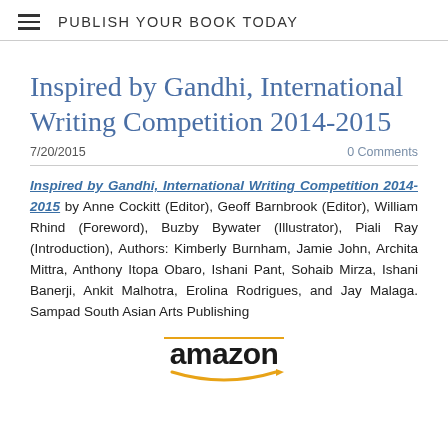PUBLISH YOUR BOOK TODAY
Inspired by Gandhi, International Writing Competition 2014-2015
7/20/2015   0 Comments
Inspired by Gandhi, International Writing Competition 2014-2015 by Anne Cockitt (Editor), Geoff Barnbrook (Editor), William Rhind (Foreword), Buzby Bywater (Illustrator), Piali Ray (Introduction), Authors: Kimberly Burnham, Jamie John, Archita Mittra, Anthony Itopa Obaro, Ishani Pant, Sohaib Mirza, Ishani Banerji, Ankit Malhotra, Erolina Rodrigues, and Jay Malaga. Sampad South Asian Arts Publishing
[Figure (logo): Amazon logo with orange arrow]